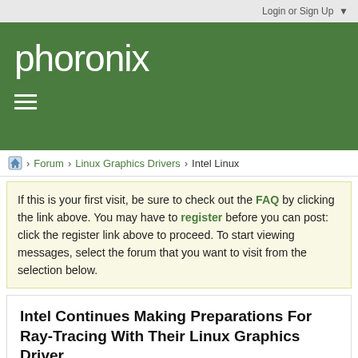Login or Sign Up ▼
phoronix
≡
🏠 > Forum > Linux Graphics Drivers > Intel Linux
If this is your first visit, be sure to check out the FAQ by clicking the link above. You may have to register before you can post: click the register link above to proceed. To start viewing messages, select the forum that you want to visit from the selection below.
Intel Continues Making Preparations For Ray-Tracing With Their Linux Graphics Driver